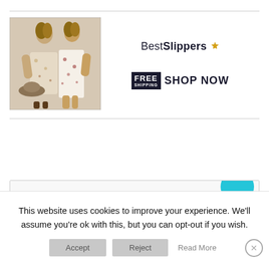[Figure (photo): Two women wearing floral off-shoulder maxi dresses, standing together]
[Figure (logo): Best Slippers brand logo with crown icon and FREE SHIPPING SHOP NOW text]
[Figure (screenshot): Partially visible bottom advertisement card]
This website uses cookies to improve your experience. We'll assume you're ok with this, but you can opt-out if you wish.
Accept   Reject   Read More